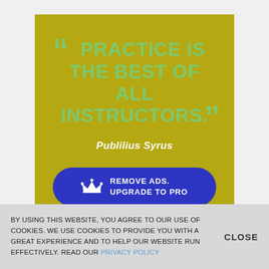[Figure (infographic): Quote card with olive/gold background showing the quote 'PRACTICE IS THE BEST OF ALL INSTRUCTORS.' attributed to Publilius Syrus, with a blue 'REMOVE ADS. UPGRADE TO PRO' button.]
BY USING THIS WEBSITE, YOU AGREE TO OUR USE OF COOKIES. WE USE COOKIES TO PROVIDE YOU WITH A GREAT EXPERIENCE AND TO HELP OUR WEBSITE RUN EFFECTIVELY. READ OUR PRIVACY POLICY
CLOSE